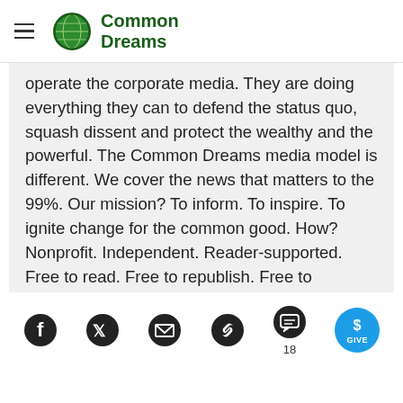Common Dreams
operate the corporate media. They are doing everything they can to defend the status quo, squash dissent and protect the wealthy and the powerful. The Common Dreams media model is different. We cover the news that matters to the 99%. Our mission? To inform. To inspire. To ignite change for the common good. How? Nonprofit. Independent. Reader-supported. Free to read. Free to republish. Free to
[Figure (other): Social sharing and action toolbar with icons for Facebook, Twitter, Email, Link, Comments (18), and a Give button]